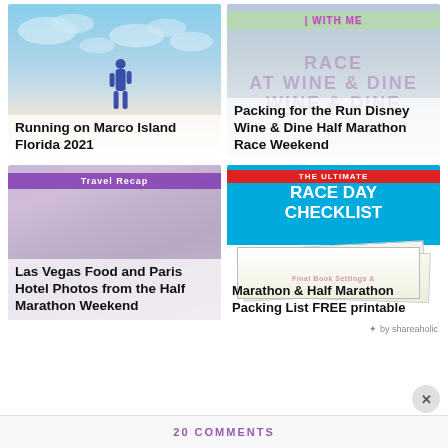[Figure (photo): Card showing a person running on Marco Island Florida beach with sky and clouds]
Running on Marco Island Florida 2021
[Figure (photo): Card showing packing for Run Disney Wine & Dine Half Marathon Race Weekend with WITH ME banner overlay]
Packing for the Run Disney Wine & Dine Half Marathon Race Weekend
[Figure (photo): Las Vegas Food and Paris Hotel travel recap card with purple Travel Recap banner]
Las Vegas Food and Paris Hotel Photos from the Half Marathon Weekend
[Figure (photo): Race Day Checklist card with blue background, red THE ULTIMATE banner, and papers showing]
Marathon & Half Marathon Packing List FREE printable
by shareaholic
20 COMMENTS